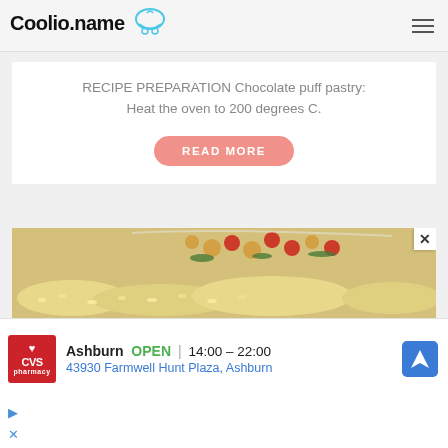Coolio.name
RECIPE PREPARATION Chocolate puff pastry: Heat the oven to 200 degrees C.
READ MORE
[Figure (photo): Food photo showing couscous with chickpeas, roasted tomatoes and vegetables on a white plate]
[Figure (infographic): CVS Pharmacy advertisement showing store location in Ashburn, OPEN 14:00-22:00, 43930 Farmwell Hunt Plaza, Ashburn]